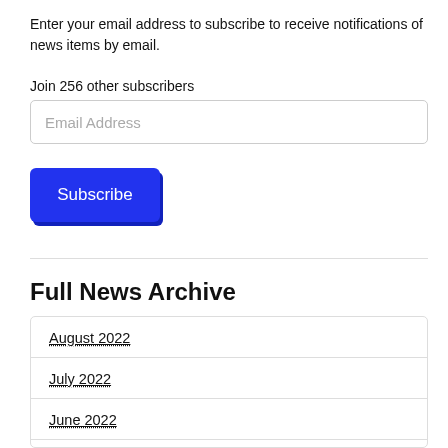Enter your email address to subscribe to receive notifications of news items by email.
Join 256 other subscribers
Email Address
Subscribe
Full News Archive
August 2022
July 2022
June 2022
May 2022